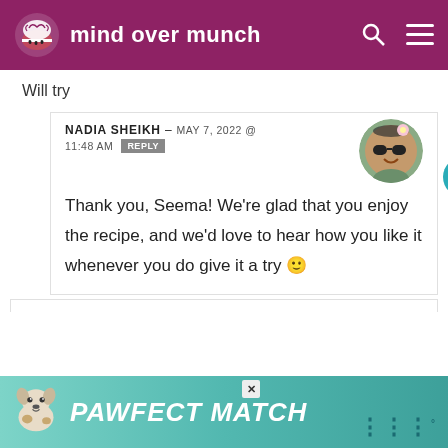mind over munch
Will try
NADIA SHEIKH – MAY 7, 2022 @ 11:48 AM REPLY
Thank you, Seema! We're glad that you enjoy the recipe, and we'd love to hear how you like it whenever you do give it a try 🙂
[Figure (infographic): PAWFECT MATCH advertisement banner with dog photo]
112